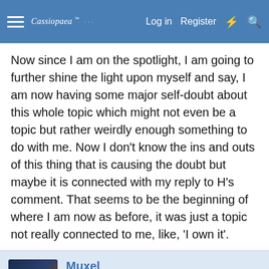Cassiopaea Forum — Log in  Register
Now since I am on the spotlight, I am going to further shine the light upon myself and say, I am now having some major self-doubt about this whole topic which might not even be a topic but rather weirdly enough something to do with me. Now I don't know the ins and outs of this thing that is causing the doubt but maybe it is connected with my reply to H's comment. That seems to be the beginning of where I am now as before, it was just a topic not really connected to me, like, 'I own it'.
Muxel
Dagobah Resident
This site uses cookies to help personalise content, tailor your experience and to keep you logged in if you register.
By continuing to use this site, you are consenting to our use of cookies.